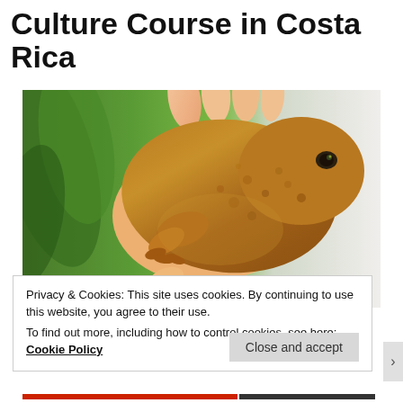Culture Course in Costa Rica
[Figure (photo): A hand holding a large brown toad (cane toad) against a green leafy background on the left and white background on the right.]
Privacy & Cookies: This site uses cookies. By continuing to use this website, you agree to their use.
To find out more, including how to control cookies, see here: Cookie Policy
Close and accept